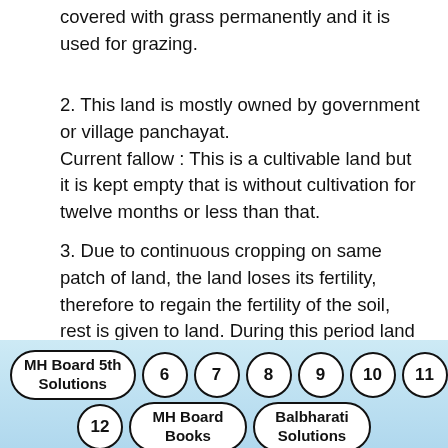covered with grass permanently and it is used for grazing.
2. This land is mostly owned by government or village panchayat.
Current fallow : This is a cultivable land but it is kept empty that is without cultivation for twelve months or less than that.
3. Due to continuous cropping on same patch of land, the land loses its fertility, therefore to regain the fertility of the soil, rest is given to land. During this period land regains the fertility naturally.
MH Board 5th Solutions  6  7  8  9  10  11  12  MH Board Books  Balbharati Solutions